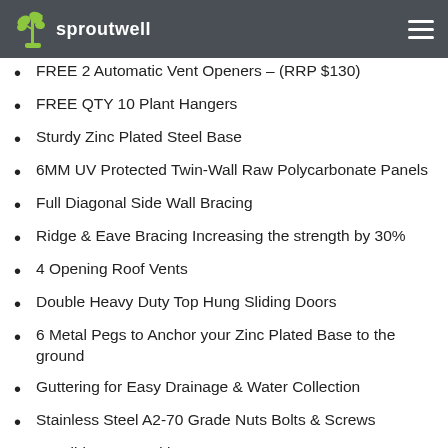sproutwell
FREE 2 Automatic Vent Openers – (RRP $130)
FREE QTY 10 Plant Hangers
Sturdy Zinc Plated Steel Base
6MM UV Protected Twin-Wall Raw Polycarbonate Panels
Full Diagonal Side Wall Bracing
Ridge & Eave Bracing Increasing the strength by 30%
4 Opening Roof Vents
Double Heavy Duty Top Hung Sliding Doors
6 Metal Pegs to Anchor your Zinc Plated Base to the ground
Guttering for Easy Drainage & Water Collection
Stainless Steel A2-70 Grade Nuts Bolts & Screws
Possible to extend by 2.5m at any stage
Detailed Assembly Instruction Manual & Video Assembly Guide
After-sales Phone & Email Support
Genuine 15yr Warranty On Frame